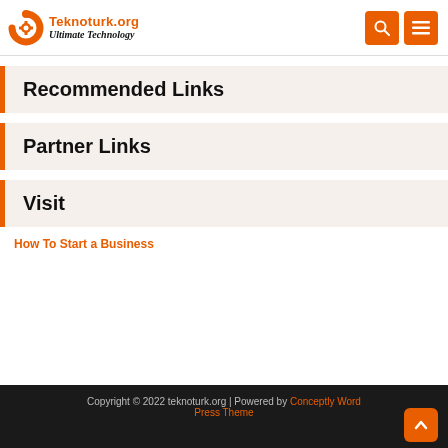Teknoturk.org Ultimate Technology
Recommended Links
Partner Links
Visit
How To Start a Business
Copyright © 2022 teknoturk.org | Powered by Conceptly Word Press Theme